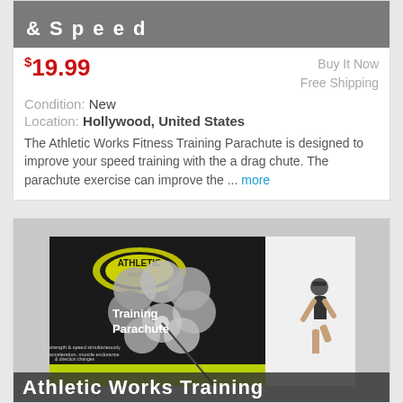[Figure (screenshot): Gray header image of a fitness training product with white bold text '& Speed']
$19.99
Buy It Now
Free Shipping
Condition: New
Location: Hollywood, United States
The Athletic Works Fitness Training Parachute is designed to improve your speed training with the a drag chute. The parachute exercise can improve the ... more
[Figure (photo): Product box photo of Athletic Works Training Parachute showing a runner with a parachute attached, black and yellow box design with product details text and Athletic Works branding. Bottom overlay text: Athletic Works Training]